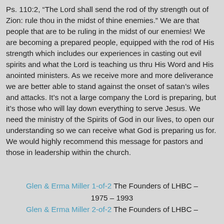Ps. 110:2, “The Lord shall send the rod of thy strength out of Zion: rule thou in the midst of thine enemies.” We are that people that are to be ruling in the midst of our enemies! We are becoming a prepared people, equipped with the rod of His strength which includes our experiences in casting out evil spirits and what the Lord is teaching us thru His Word and His anointed ministers. As we receive more and more deliverance we are better able to stand against the onset of satan’s wiles and attacks. It’s not a large company the Lord is preparing, but it’s those who will lay down everything to serve Jesus. We need the ministry of the Spirits of God in our lives, to open our understanding so we can receive what God is preparing us for. We would highly recommend this message for pastors and those in leadership within the church.
Glen & Erma Miller 1-of-2 The Founders of LHBC – 1975 – 1993
Glen & Erma Miller 2-of-2 The Founders of LHBC – 1994 – 2003